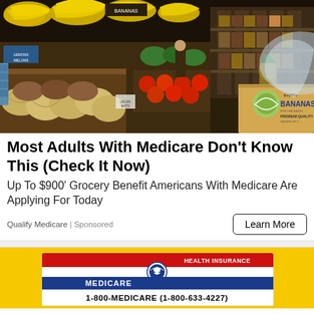[Figure (photo): Grocery store produce section with bananas, melons, and various fruits on display. A cardboard box labeled 'EARTH BANANAS - PREMIUM QUALITY' is visible in the foreground.]
Most Adults With Medicare Don't Know This (Check It Now)
Up To $900' Grocery Benefit Americans With Medicare Are Applying For Today
Qualify Medicare | Sponsored
Learn More
[Figure (photo): Medicare Health Insurance card on yellow background showing 'MEDICARE' and 'HEALTH INSURANCE' text with HHS logo and '1-800-MEDICARE (1-800-633-4227)']